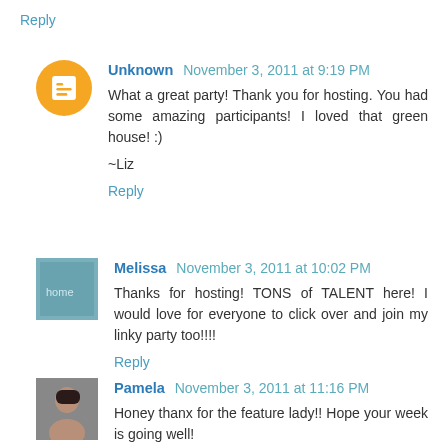Reply
Unknown November 3, 2011 at 9:19 PM
What a great party! Thank you for hosting. You had some amazing participants! I loved that green house! :)
~Liz
Reply
Melissa November 3, 2011 at 10:02 PM
Thanks for hosting! TONS of TALENT here! I would love for everyone to click over and join my linky party too!!!!
Reply
Pamela November 3, 2011 at 11:16 PM
Honey thanx for the feature lady!! Hope your week is going well!